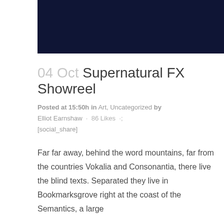[Figure (other): Dark navy blue banner/header image at the top of the page]
04 Oct Supernatural FX Showreel
Posted at 15:50h in Art, Uncategorized by Elliot Earnshaw · 86 Likes · [social_share]
Far far away, behind the word mountains, far from the countries Vokalia and Consonantia, there live the blind texts. Separated they live in Bookmarksgrove right at the coast of the Semantics, a large